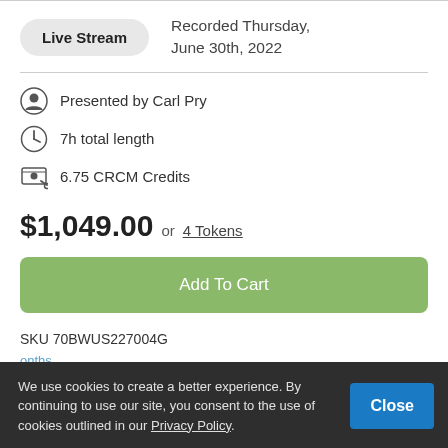Live Stream — Recorded Thursday, June 30th, 2022
Presented by Carl Pry
7h total length
6.75 CRCM Credits
$1,049.00 or 4 Tokens
Add To Cart
SKU 70BWUS227004G
Topics
Audit
We use cookies to create a better experience. By continuing to use our site, you consent to the use of cookies outlined in our Privacy Policy.